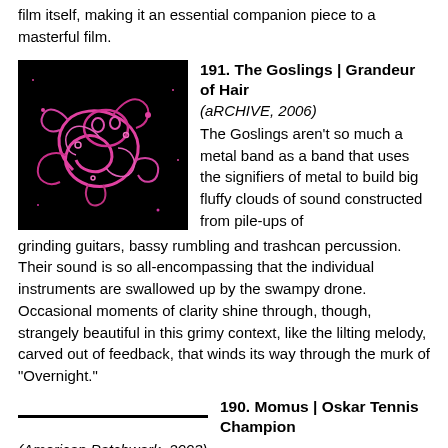film itself, making it an essential companion piece to a masterful film.
[Figure (illustration): Album cover for The Goslings - Grandeur of Hair: pink abstract swirling organism-like figure on black background]
191. The Goslings | Grandeur of Hair
(aRCHIVE, 2006)
The Goslings aren't so much a metal band as a band that uses the signifiers of metal to build big fluffy clouds of sound constructed from pile-ups of grinding guitars, bassy rumbling and trashcan percussion. Their sound is so all-encompassing that the individual instruments are swallowed up by the swampy drone. Occasional moments of clarity shine through, though, strangely beautiful in this grimy context, like the lilting melody, carved out of feedback, that winds its way through the murk of "Overnight."
190. Momus | Oskar Tennis Champion
(American Patchwork, 2003)
My feelings about this goofy album of perverted electro-pop